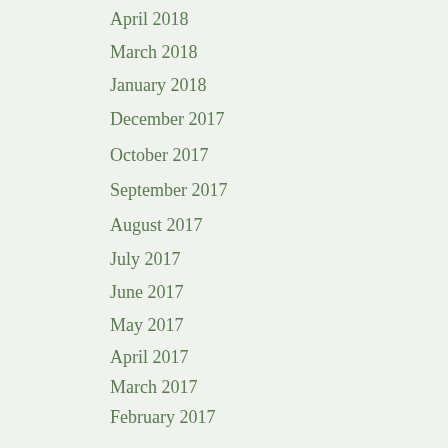April 2018
March 2018
January 2018
December 2017
October 2017
September 2017
August 2017
July 2017
June 2017
May 2017
April 2017
March 2017
February 2017
January 2017
December 2016
November 2016